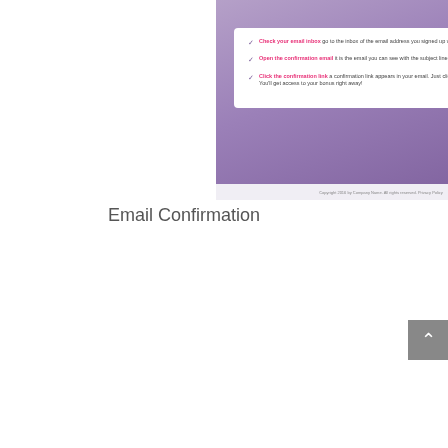[Figure (screenshot): Screenshot of an email confirmation page with purple/violet background. A white box shows three checklist items: Check your email inbox, Open the confirmation email, and Click the confirmation link. Footer reads copyright notice.]
Email Confirmation
[Figure (screenshot): Screenshot of a red landing page titled '5 Simple Steps to Start Boosting Your Website's Conversion Rates' with a book cover image on the left and three bullet points on the right describing the content.]